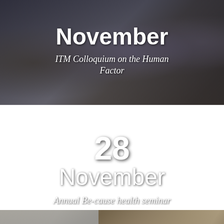[Figure (photo): Audience seated in rows at a colloquium event, people listening in a modern venue with dark flooring]
November
ITM Colloquium on the Human Factor
[Figure (photo): A woman with short blonde hair speaking at a podium with a microphone, projection screen visible in background]
28 November
Annual Be-cause health seminar